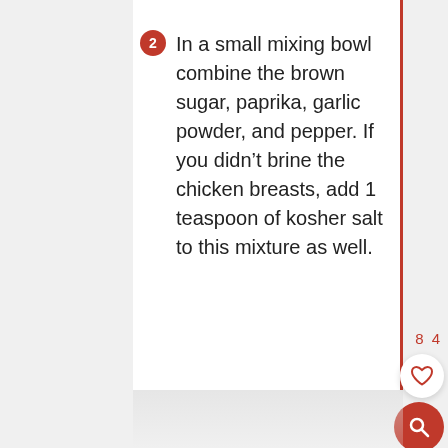In a small mixing bowl combine the brown sugar, paprika, garlic powder, and pepper. If you didn't brine the chicken breasts, add 1 teaspoon of kosher salt to this mixture as well.
84